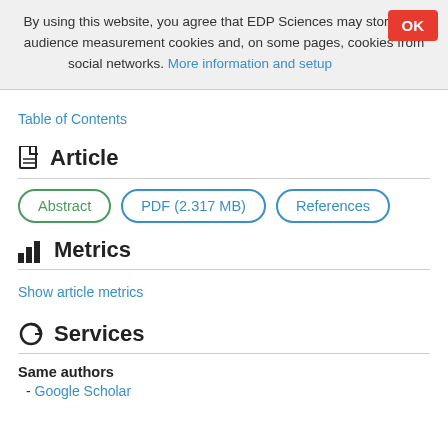By using this website, you agree that EDP Sciences may store web audience measurement cookies and, on some pages, cookies from social networks. More information and setup
Table of Contents
Article
Abstract | PDF (2.317 MB) | References
Metrics
Show article metrics
Services
Same authors
- Google Scholar